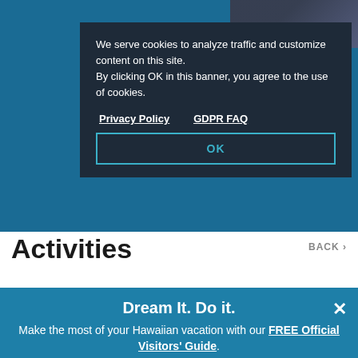[Figure (screenshot): Website screenshot showing a cookie consent banner overlaid on a Hawaii tourism activities page, with a 'Dream It. Do it.' promotional popup at the bottom]
We serve cookies to analyze traffic and customize content on this site. By clicking OK in this banner, you agree to the use of cookies.
Privacy Policy    GDPR FAQ
OK
Activities
BACK
Dream It. Do it.
Make the most of your Hawaiian vacation with our FREE Official Visitors' Guide.
LET'S GO
Filter Results
SEARCH